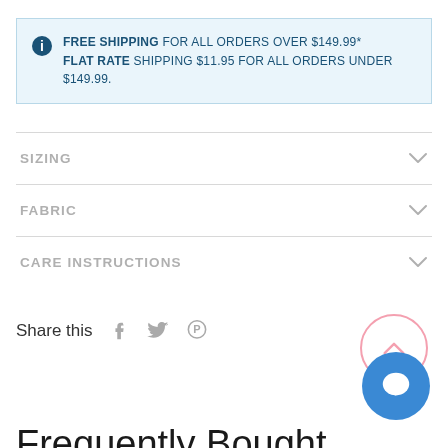FREE SHIPPING FOR ALL ORDERS OVER $149.99* FLAT RATE SHIPPING $11.95 FOR ALL ORDERS UNDER $149.99.
SIZING
FABRIC
CARE INSTRUCTIONS
Share this
Frequently Bought